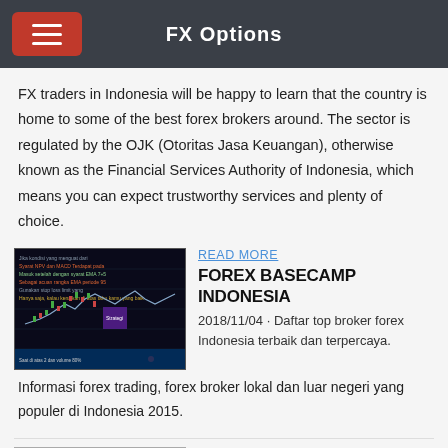FX Options
FX traders in Indonesia will be happy to learn that the country is home to some of the best forex brokers around. The sector is regulated by the OJK (Otoritas Jasa Keuangan), otherwise known as the Financial Services Authority of Indonesia, which means you can expect trustworthy services and plenty of choice.
[Figure (screenshot): Screenshot of a forex trading chart interface with candlestick data on a dark background]
READ MORE
FOREX BASECAMP INDONESIA
2018/11/04 · Daftar top broker forex Indonesia terbaik dan terpercaya. Informasi forex trading, forex broker lokal dan luar negeri yang populer di Indonesia 2015.
[Figure (illustration): Illustration showing a globe with financial trading elements and a person, on a blue background]
READ MORE
Forex Brokers — Compare FX Brokers